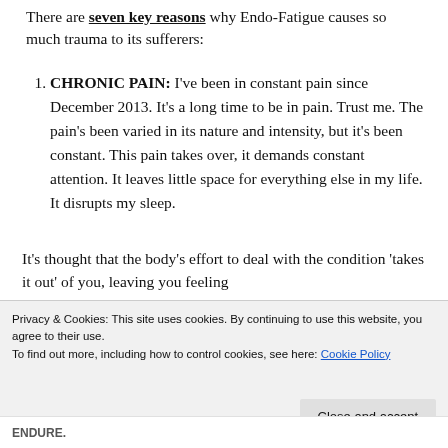There are seven key reasons why Endo-Fatigue causes so much trauma to its sufferers:
CHRONIC PAIN: I've been in constant pain since December 2013. It's a long time to be in pain. Trust me. The pain's been varied in its nature and intensity, but it's been constant. This pain takes over, it demands constant attention. It leaves little space for everything else in my life. It disrupts my sleep.
It's thought that the body's effort to deal with the condition 'takes it out' of you, leaving you feeling exhausted. The pain is attributed to...
Privacy & Cookies: This site uses cookies. By continuing to use this website, you agree to their use.
To find out more, including how to control cookies, see here: Cookie Policy